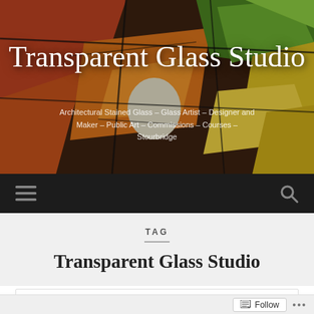[Figure (photo): Stained glass studio header image showing colorful leaded glass panels with red, orange, yellow and green sections]
Transparent Glass Studio
Architectural Stained Glass – Glass Artist – Designer and Maker – Public Art – Commissions – Courses – Stourbridge
[Figure (infographic): Dark navigation bar with hamburger menu icon on left and search icon on right]
TAG
Transparent Glass Studio
[Figure (screenshot): White card area beginning to show below the tag title, with Follow button and ellipsis at bottom]